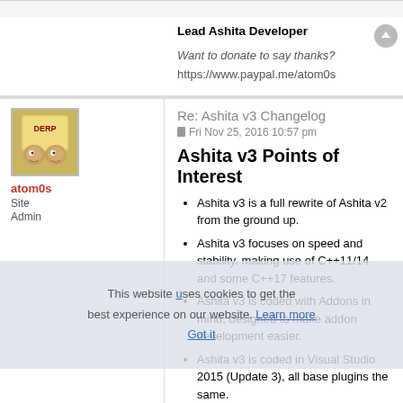Lead Ashita Developer
Want to donate to say thanks?
https://www.paypal.me/atom0s
Re: Ashita v3 Changelog
Fri Nov 25, 2016 10:57 pm
Ashita v3 Points of Interest
Ashita v3 is a full rewrite of Ashita v2 from the ground up.
Ashita v3 focuses on speed and stability, making use of C++11/14 and some C++17 features.
Ashita v3 is coded with Addons in mind, designed to make addon development easier.
Ashita v3 is coded in Visual Studio 2015 (Update 3), all base plugins the same.
Removed old AnTweakbar UI system in favor of the newer ImGui system.
Custom Fonts - New Coloring Format